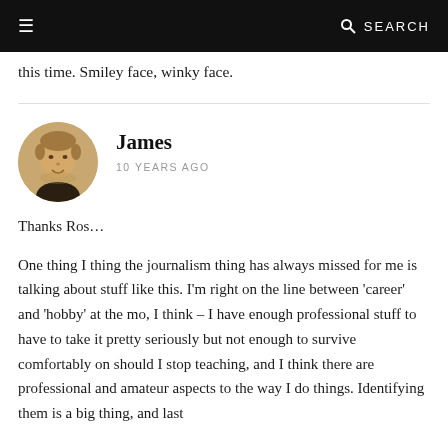≡   🔍 SEARCH
this time. Smiley face, winky face.
James
10 YEARS AGO
Thanks Ros…
One thing I thing the journalism thing has always missed for me is talking about stuff like this. I'm right on the line between 'career' and 'hobby' at the mo, I think – I have enough professional stuff to have to take it pretty seriously but not enough to survive comfortably on should I stop teaching, and I think there are professional and amateur aspects to the way I do things. Identifying them is a big thing, and last